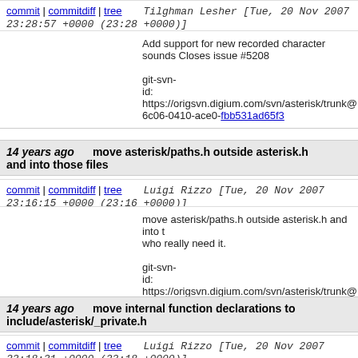commit | commitdiff | tree   Tilghman Lesher [Tue, 20 Nov 2007 23:28:57 +0000 (23:28 +0000)]
Add support for new recorded character sounds Closes issue #5208

git-svn-id: https://origsvn.digium.com/svn/asterisk/trunk@ 6c06-0410-ace0-fbb531ad65f3
14 years ago   move asterisk/paths.h outside asterisk.h and into those files
commit | commitdiff | tree   Luigi Rizzo [Tue, 20 Nov 2007 23:16:15 +0000 (23:16 +0000)]
move asterisk/paths.h outside asterisk.h and into those files who really need it.

git-svn-id: https://origsvn.digium.com/svn/asterisk/trunk@ 6c06-0410-ace0-fbb531ad65f3
14 years ago   move internal function declarations to include/asterisk/_private.h
commit | commitdiff | tree   Luigi Rizzo [Tue, 20 Nov 2007 22:18:21 +0000 (22:18 +0000)]